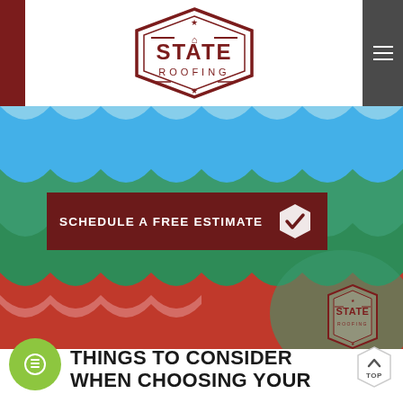[Figure (logo): State Roofing logo — hexagonal badge with the text STATE ROOFING in dark red]
[Figure (photo): Hero image of colorful metal roofing panels in blue, green, and red, with a 'Schedule a Free Estimate' call-to-action button overlaid, and a State Roofing watermark logo at the bottom right]
THINGS TO CONSIDER WHEN CHOOSING YOUR